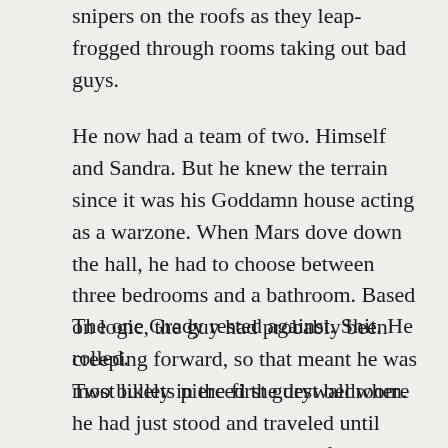snipers on the roofs as they leap-frogged through rooms taking out bad guys.
He now had a team of two. Himself and Sandra. But he knew the terrain since it was his Goddamn house acting as a warzone. When Mars dove down the hall, he had to choose between three bedrooms and a bathroom. Based on logic, the guy had probably been creeping forward, so that meant he was most likely in the first guest bedroom.
The one Grady rested against. Shit. He rolled.
Two bullets pierced the drywall where he had just stood and traveled until they slammed into the side of the kitchen island. Pots and pans